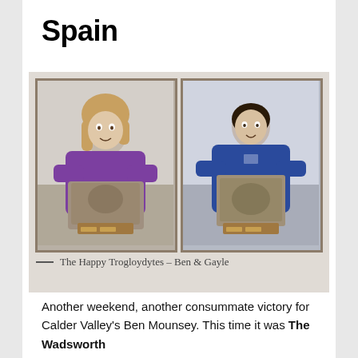Spain
[Figure (photo): Two people holding stone trophies/awards. Left: a woman in a purple hoodie holding a stone face trophy on a wooden base. Right: a man in a blue hoodie holding a similar stone trophy on a wooden base.]
— The Happy Trogloydytes – Ben & Gayle
Another weekend, another consummate victory for Calder Valley's Ben Mounsey. This time it was The Wadsworth